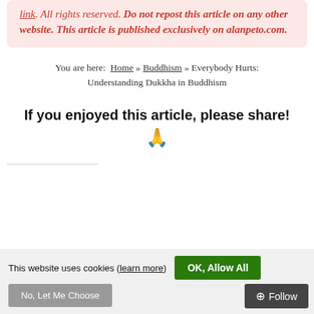repost this article on any other website. This article is published exclusively on alanpeto.com.
You are here: Home » Buddhism » Everybody Hurts: Understanding Dukkha in Buddhism
If you enjoyed this article, please share! 🙏
This website uses cookies (learn more)
OK, Allow All
No, Let Me Choose
+ Follow